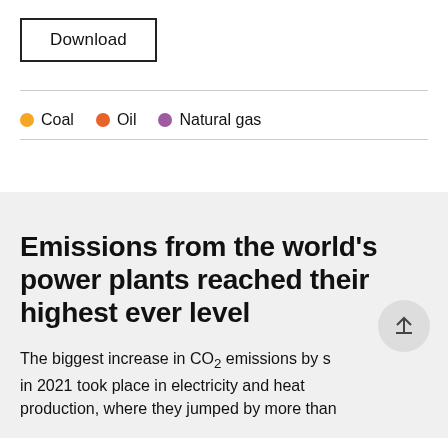[Figure (other): Download button — a rectangular button with border labeled 'Download']
[Figure (infographic): Legend showing three colored dots: Coal (yellow/orange), Oil (orange-red), Natural gas (purple)]
Emissions from the world's power plants reached their highest ever level
The biggest increase in CO₂ emissions by sector in 2021 took place in electricity and heat production, where they jumped by more than